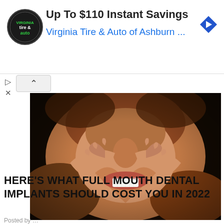[Figure (logo): Virginia Tire & Auto circular logo with black background]
Up To $110 Instant Savings
Virginia Tire & Auto of Ashburn ...
[Figure (photo): Close-up photo of a woman smiling, making a heart shape with her hands framing her teeth]
HERE'S WHAT FULL MOUTH DENTAL IMPLANTS SHOULD COST YOU IN 2022
Posted by ...